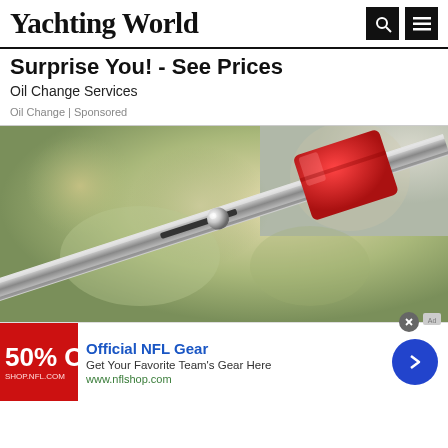Yachting World
Surprise You! - See Prices
Oil Change Services
Oil Change | Sponsored
[Figure (photo): Close-up of a metal rod or antenna with a chrome ball joint mechanism and a bright red cylindrical cap/tip, against a blurred outdoor background.]
Official NFL Gear
Get Your Favorite Team's Gear Here
www.nflshop.com